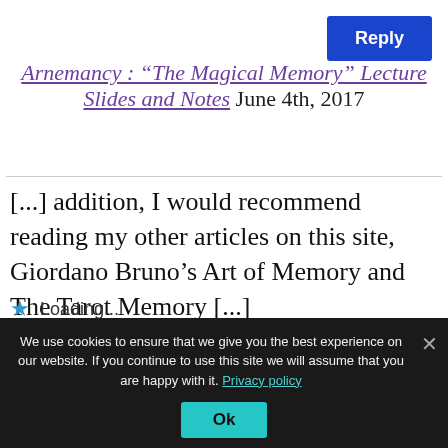Reply
Arnemancy : “The Magical Memory” Lecture Slides and Notes June 4th, 2017
[...] addition, I would recommend reading my other articles on this site, Giordano Bruno’s Art of Memory and The Tarot Memory [...]
★ Loading...
We use cookies to ensure that we give you the best experience on our website. If you continue to use this site we will assume that you are happy with it. Privacy policy
Ok